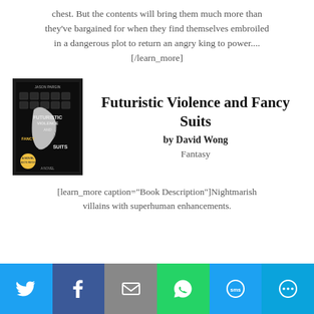chest. But the contents will bring them much more than they've bargained for when they find themselves embroiled in a dangerous plot to return an angry king to power.... [/learn_more]
[Figure (photo): Book cover of Futuristic Violence and Fancy Suits by Jason Pargin (David Wong), dark background with mechanical/futuristic imagery]
Futuristic Violence and Fancy Suits
by David Wong
Fantasy
[learn_more caption="Book Description"]Nightmarish villains with superhuman enhancements.
[Figure (infographic): Social share bar with icons for Twitter, Facebook, Email, WhatsApp, SMS, and More sharing options]